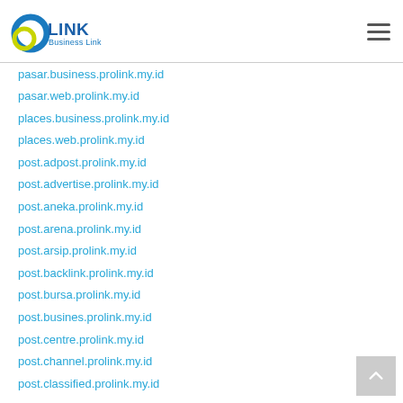Business Link logo and navigation
pasar.business.prolink.my.id
pasar.web.prolink.my.id
places.business.prolink.my.id
places.web.prolink.my.id
post.adpost.prolink.my.id
post.advertise.prolink.my.id
post.aneka.prolink.my.id
post.arena.prolink.my.id
post.arsip.prolink.my.id
post.backlink.prolink.my.id
post.bursa.prolink.my.id
post.busines.prolink.my.id
post.centre.prolink.my.id
post.channel.prolink.my.id
post.classified.prolink.my.id